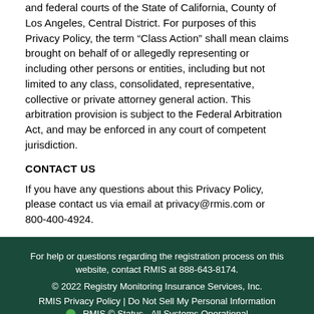and federal courts of the State of California, County of Los Angeles, Central District. For purposes of this Privacy Policy, the term “Class Action” shall mean claims brought on behalf of or allegedly representing or including other persons or entities, including but not limited to any class, consolidated, representative, collective or private attorney general action. This arbitration provision is subject to the Federal Arbitration Act, and may be enforced in any court of competent jurisdiction.
CONTACT US
If you have any questions about this Privacy Policy, please contact us via email at privacy@rmis.com or 800-400-4924.
For help or questions regarding the registration process on this website, contact RMIS at 888-643-8174.
© 2022 Registry Monitoring Insurance Services, Inc.
RMIS Privacy Policy | Do Not Sell My Personal Information
RMIS © Status - All Systems Operational
[Figure (photo): Photo of a woman with headset smiling, next to a green checkmark shield logo]